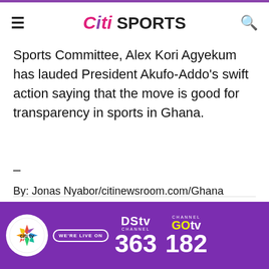Citi SPORTS
Sports Committee, Alex Kori Agyekum has lauded President Akufo-Addo's swift action saying that the move is good for transparency in sports in Ghana.
–
By: Jonas Nyabor/citinewsroom.com/Ghana
[Figure (infographic): Social share buttons: Facebook (dark blue), Twitter (light blue), WhatsApp (dark green), Share/forward (grey)]
[Figure (infographic): Citi TV ad banner: purple background with Citi TV logo, WE'RE LIVE ON badge, DStv Channel 363, GOtv Channel 182]